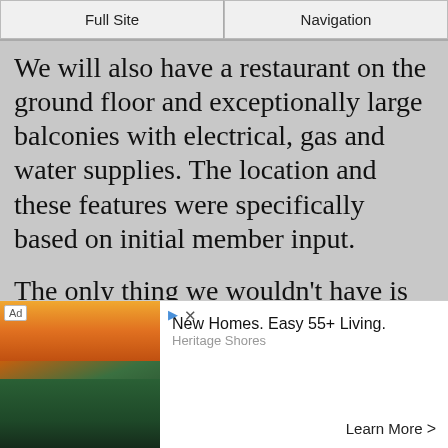Full Site | Navigation
We will also have a restaurant on the ground floor and exceptionally large balconies with electrical, gas and water supplies. The location and these features were specifically based on initial member input.
The only thing we wouldn’t have is wide-open space, but that feature is the main distinction between city vs. rural retirement.
[Figure (screenshot): Advertisement banner for Heritage Shores. Shows a photo of homes near water at sunset on the left. Text reads: New Homes. Easy 55+ Living. Heritage Shores. Learn More >]